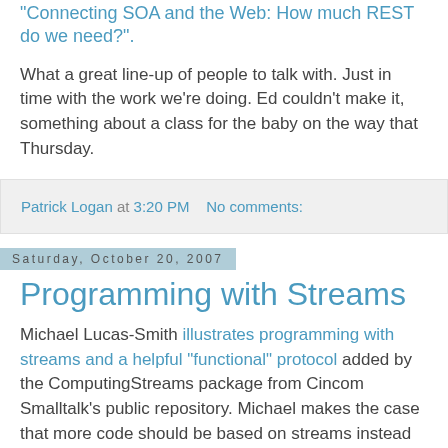"Connecting SOA and the Web: How much REST do we need?".
What a great line-up of people to talk with. Just in time with the work we're doing. Ed couldn't make it, something about a class for the baby on the way that Thursday.
Patrick Logan at 3:20 PM   No comments:
Saturday, October 20, 2007
Programming with Streams
Michael Lucas-Smith illustrates programming with streams and a helpful "functional" protocol added by the ComputingStreams package from Cincom Smalltalk's public repository. Michael makes the case that more code should be based on streams instead of collections, and use a common protocol like ComputingStreams instead of custom, one-off methods that won't play well with others. Streams are a better abstraction than collections because they inherently "delay" and scale up to and including infinitely long streams.